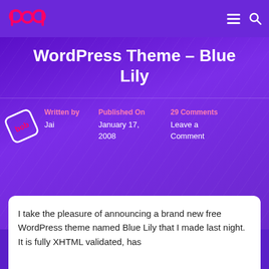bob [logo] [hamburger menu] [search icon]
WordPress Theme – Blue Lily
Written by Jai | Published On January 17, 2008 | 29 Comments Leave a Comment
I take the pleasure of announcing a brand new free WordPress theme named Blue Lily that I made last night. It is fully XHTML validated, has